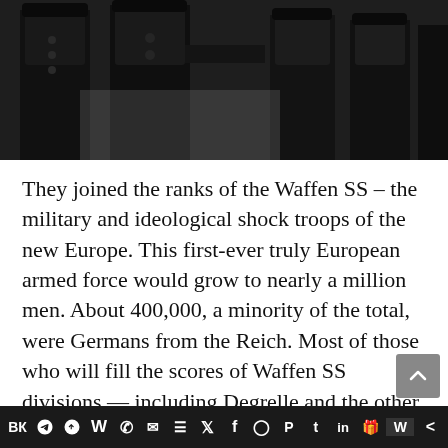[Figure (photo): Black and white photograph of military figures in dark uniforms, partially cropped, standing in a row or group formation]
They joined the ranks of the Waffen SS – the military and ideological shock troops of the new Europe. This first-ever truly European armed force would grow to nearly a million men. About 400,000, a minority of the total, were Germans from the Reich. Most of those who will fill the scores of Waffen SS divisions — including Degrelle and the other Légion Wallonie volunteers from Belgium's French-speaking region — were Europeans from outside of Germany.
Social sharing bar with icons: VK, Telegram, Reddit, WordPress, WhatsApp, Email, Buffer, Twitter, Facebook, Instagram, Pinterest, Tumblr, LinkedIn, Gift, Wattpad, Share